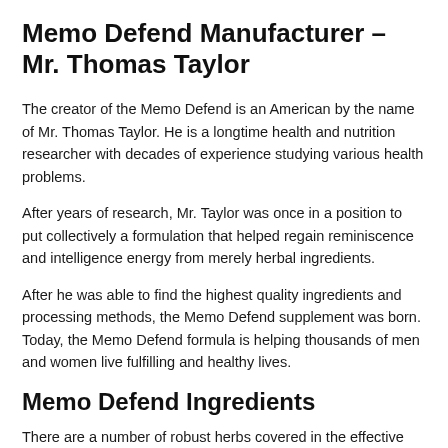Memo Defend Manufacturer – Mr. Thomas Taylor
The creator of the Memo Defend is an American by the name of Mr. Thomas Taylor. He is a longtime health and nutrition researcher with decades of experience studying various health problems.
After years of research, Mr. Taylor was once in a position to put collectively a formulation that helped regain reminiscence and intelligence energy from merely herbal ingredients.
After he was able to find the highest quality ingredients and processing methods, the Memo Defend supplement was born. Today, the Memo Defend formula is helping thousands of men and women live fulfilling and healthy lives.
Memo Defend Ingredients
There are a number of robust herbs covered in the effective Memo